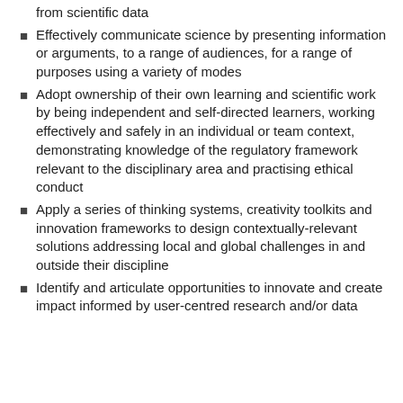from scientific data
Effectively communicate science by presenting information or arguments, to a range of audiences, for a range of purposes using a variety of modes
Adopt ownership of their own learning and scientific work by being independent and self-directed learners, working effectively and safely in an individual or team context, demonstrating knowledge of the regulatory framework relevant to the disciplinary area and practising ethical conduct
Apply a series of thinking systems, creativity toolkits and innovation frameworks to design contextually-relevant solutions addressing local and global challenges in and outside their discipline
Identify and articulate opportunities to innovate and create impact informed by user-centred research and/or data